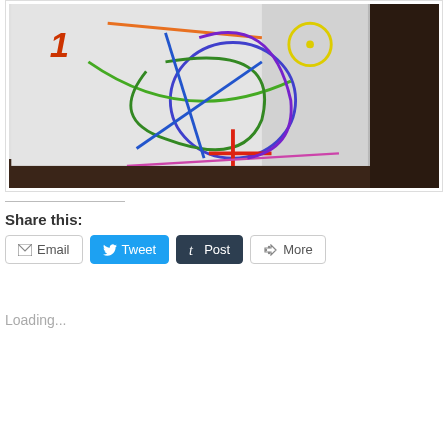[Figure (photo): A photograph of a child's colorful drawing on white paper placed on a dark wooden surface. The drawing shows colorful scribbles and shapes including a circle, cross shapes, and curved lines in red, orange, green, blue, and purple colors.]
Share this:
Email | Tweet | Post | More
Loading...